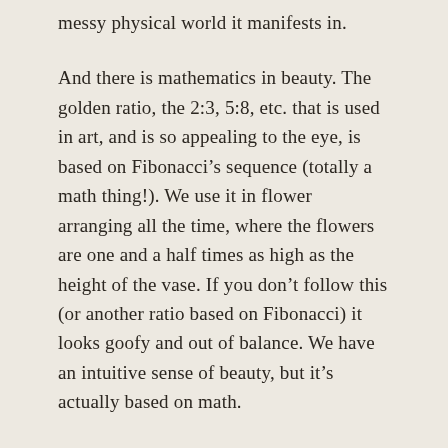messy physical world it manifests in.
And there is mathematics in beauty. The golden ratio, the 2:3, 5:8, etc. that is used in art, and is so appealing to the eye, is based on Fibonacci’s sequence (totally a math thing!). We use it in flower arranging all the time, where the flowers are one and a half times as high as the height of the vase. If you don’t follow this (or another ratio based on Fibonacci) it looks goofy and out of balance. We have an intuitive sense of beauty, but it’s actually based on math.
The platonic and the physical, the divine and the human, it’s in the space where they meet that all the juicy stuff lies. Space – that’s the key ingredient, and art brings it to us when it leaves things out. Negative space in flower arranging is the place where you don’t put anything; when form draws your eye to the place where there is nothing, but there wouldn’t be a nothing if it